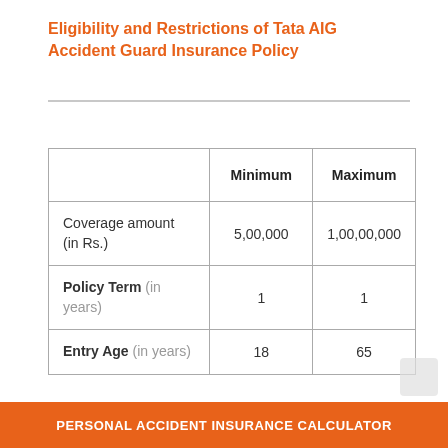Eligibility and Restrictions of Tata AIG Accident Guard Insurance Policy
|  | Minimum | Maximum |
| --- | --- | --- |
| Coverage amount (in Rs.) | 5,00,000 | 1,00,00,000 |
| Policy Term (in years) | 1 | 1 |
| Entry Age (in years) | 18 | 65 |
PERSONAL ACCIDENT INSURANCE CALCULATOR